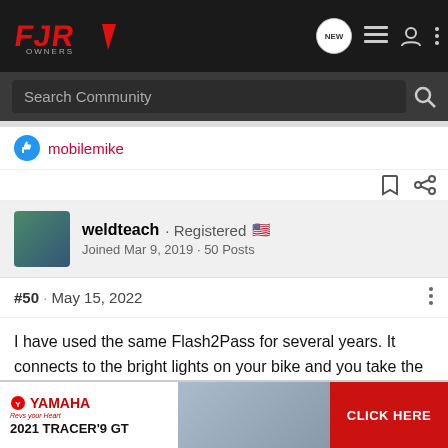FJR Owners community navigation bar with logo, NEW, list, user, and menu icons
Search Community
mobilemike
weldteach · Registered 🇺🇸
Joined Mar 9, 2019 · 50 Posts
#50 · May 15, 2022
I have used the same Flash2Pass for several years. It connects to the bright lights on your bike and you take the push button switch off the wall in the garage and connect the receiver to those two wires so it works with all brands of garage doors (there is [obscured by ad] iver). Flash b[obscured] rate my door up [obscured] ike so
[Figure (screenshot): Yamaha 2021 Tracer 9 GT advertisement banner with red CLICK HERE button]